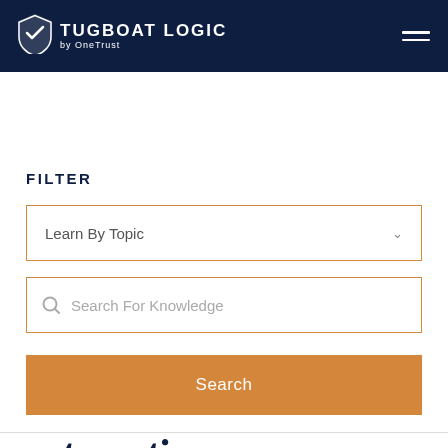TUGBOAT LOGIC by OneTrust
FILTER
Learn By Topic
Search For Knowledge
Search
automating